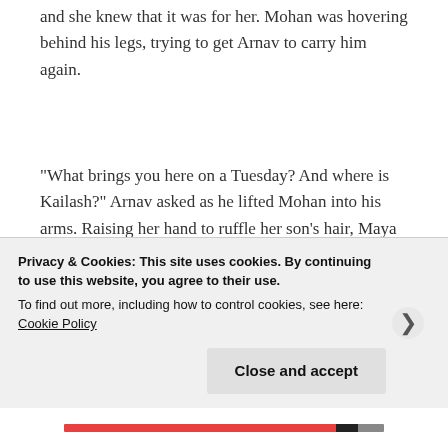and she knew that it was for her. Mohan was hovering behind his legs, trying to get Arnav to carry him again.
“What brings you here on a Tuesday? And where is Kailash?” Arnav asked as he lifted Mohan into his arms. Raising her hand to ruffle her son’s hair, Maya replied, “Kailash is on call tonight and is at home. I was hoping to catch you at the hospital today, but you were so busy, I thought I’ll stop by
Privacy & Cookies: This site uses cookies. By continuing to use this website, you agree to their use.
To find out more, including how to control cookies, see here: Cookie Policy
Close and accept